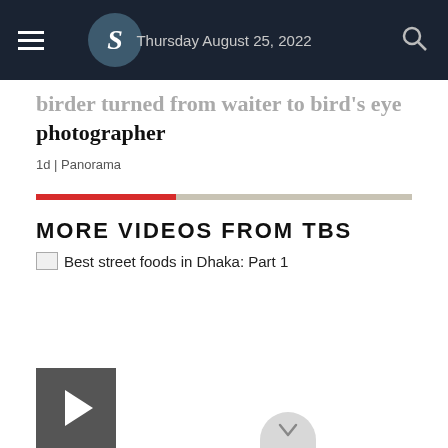Thursday August 25, 2022
photographer
1d | Panorama
MORE VIDEOS FROM TBS
Best street foods in Dhaka: Part 1